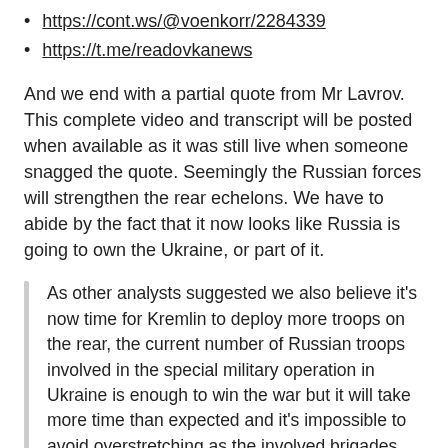https://cont.ws/@voenkorr/2284339
https://t.me/readovkanews
And we end with a partial quote from Mr Lavrov. This complete video and transcript will be posted when available as it was still live when someone snagged the quote. Seemingly the Russian forces will strengthen the rear echelons. We have to abide by the fact that it now looks like Russia is going to own the Ukraine, or part of it.
As other analysts suggested we also believe it's now time for Kremlin to deploy more troops on the rear, the current number of Russian troops involved in the special military operation in Ukraine is enough to win the war but it will take more time than expected and it's impossible to avoid overstretching as the involved brigades (100/120k soldiers in total) cannot fight simultaneously on too many fronts, latest advances in Donbass have been achieved thanks to a massive redeployment, in the region, of the troops initially deployed in other areas, thus some peripheral areas like several settlements in the Northern Kharkov region lately had to be abandoned without fighting, leaving behind their citizens at mercy of Naz...